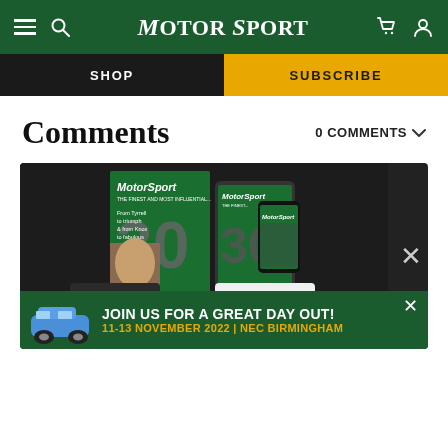Motor Sport - Navigation bar with hamburger menu, search, logo, cart, and user icons
SHOP
SUBSCRIBE
Comments
0 COMMENTS
[Figure (photo): Motor Sport magazine covers and mobile app displayed on dark background with racing cars (Porsche 911 and white touring car with TEXACO and number 11 livery) in the foreground]
JOIN US FOR A GREAT DAY OUT! 11-13 NOVEMBER 2022 | NEC BIRMINGHAM